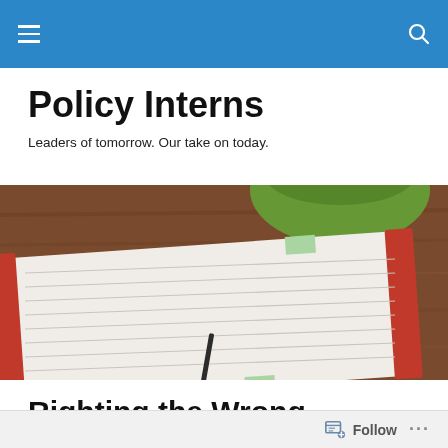Policy Interns — site navigation bar
Policy Interns
Leaders of tomorrow. Our take on today.
[Figure (photo): Overhead photo of a red spiral notebook with lined paper open on a wooden desk surface. A green ceramic mug is partially visible in the upper right. A pen rests on the notebook.]
Righting the Wrong, Pipeline Edition: The Case Against the Tar Sands of Canada
Follow